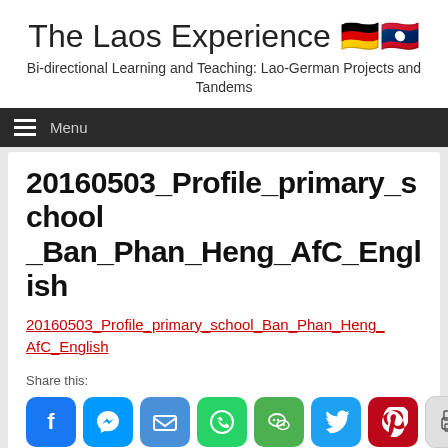The Laos Experience 🇩🇪🇱🇦
Bi-directional Learning and Teaching: Lao-German Projects and Tandems
Menu
20160503_Profile_primary_school_Ban_Phan_Heng_AfC_English
20160503_Profile_primary_school_Ban_Phan_Heng_AfC_English
Share this: